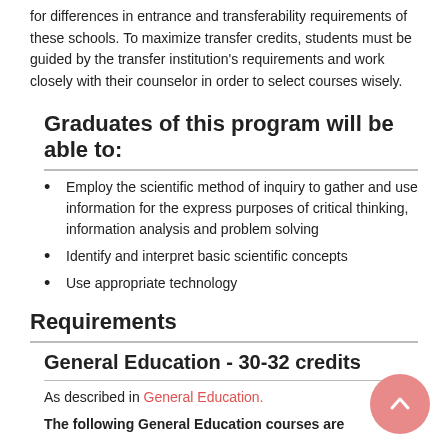for differences in entrance and transferability requirements of these schools. To maximize transfer credits, students must be guided by the transfer institution's requirements and work closely with their counselor in order to select courses wisely.
Graduates of this program will be able to:
Employ the scientific method of inquiry to gather and use information for the express purposes of critical thinking, information analysis and problem solving
Identify and interpret basic scientific concepts
Use appropriate technology
Requirements
General Education - 30-32 credits
As described in General Education.
The following General Education courses are